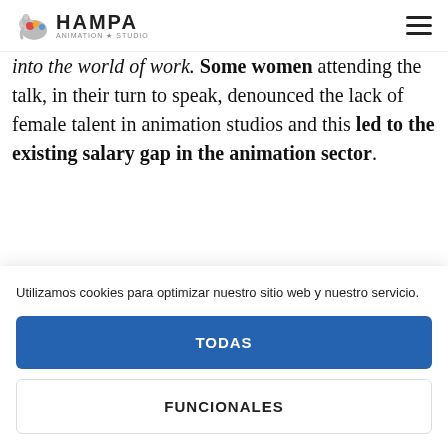HAMPA Animation Studio
into the world of work. Some women attending the talk, in their turn to speak, denounced the lack of female talent in animation studios and this led to the existing salary gap in the animation sector.
[Figure (photo): Partial image strip showing a colorful scene, partially visible at the bottom of the article content area.]
Utilizamos cookies para optimizar nuestro sitio web y nuestro servicio.
TODAS
FUNCIONALES